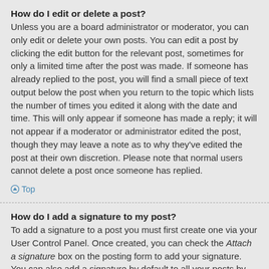How do I edit or delete a post?
Unless you are a board administrator or moderator, you can only edit or delete your own posts. You can edit a post by clicking the edit button for the relevant post, sometimes for only a limited time after the post was made. If someone has already replied to the post, you will find a small piece of text output below the post when you return to the topic which lists the number of times you edited it along with the date and time. This will only appear if someone has made a reply; it will not appear if a moderator or administrator edited the post, though they may leave a note as to why they've edited the post at their own discretion. Please note that normal users cannot delete a post once someone has replied.
Top
How do I add a signature to my post?
To add a signature to a post you must first create one via your User Control Panel. Once created, you can check the Attach a signature box on the posting form to add your signature. You can also add a signature by default to all your posts by checking the appropriate radio button in the User Control